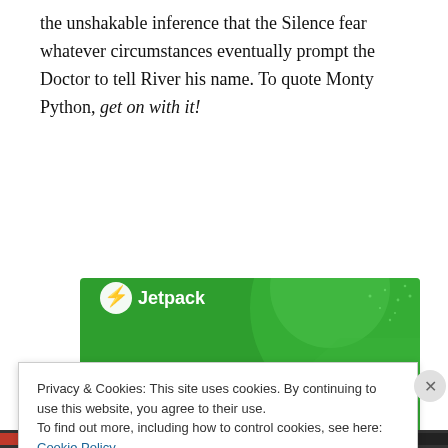the unshakable inference that the Silence fear whatever circumstances eventually prompt the Doctor to tell River his name. To quote Monty Python, get on with it!
[Figure (illustration): Jetpack plugin advertisement banner — green background with Jetpack logo and text 'The best real-time WordPress backup plugin']
Privacy & Cookies: This site uses cookies. By continuing to use this website, you agree to their use.
To find out more, including how to control cookies, see here: Cookie Policy
Close and accept